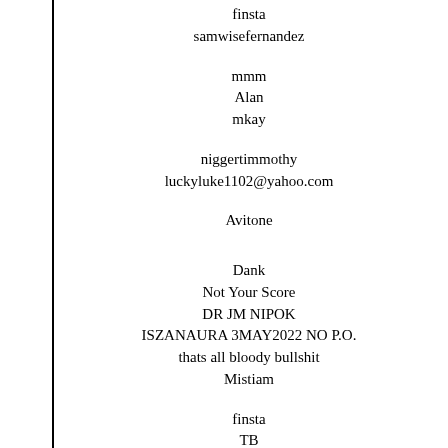finsta
samwisefernandez
mmm
Alan
mkay
niggertimmothy
luckyluke1102@yahoo.com
Avitone
Dank
Not Your Score
DR JM NIPOK
ISZANAURA 3MAY2022 NO P.O.
thats all bloody bullshit
Mistiam
finsta
TB